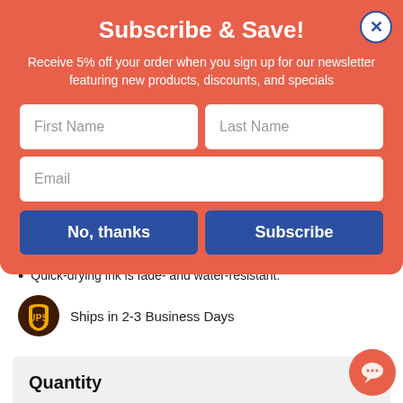Subscribe & Save!
Receive 5% off your order when you sign up for our newsletter featuring new products, discounts, and specials
First Name
Last Name
Email
No, thanks
Subscribe
Quick-drying ink is fade- and water-resistant.
Ships in 2-3 Business Days
Quantity
1
ADD TO CART